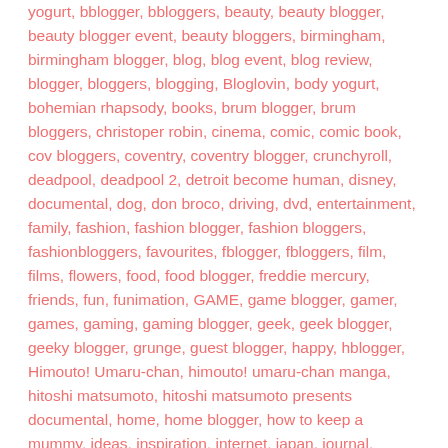yogurt, bblogger, bbloggers, beauty, beauty blogger, beauty blogger event, beauty bloggers, birmingham, birmingham blogger, blog, blog event, blog review, blogger, bloggers, blogging, Bloglovin, body yogurt, bohemian rhapsody, books, brum blogger, brum bloggers, christoper robin, cinema, comic, comic book, cov bloggers, coventry, coventry blogger, crunchyroll, deadpool, deadpool 2, detroit become human, disney, documental, dog, don broco, driving, dvd, entertainment, family, fashion, fashion blogger, fashion bloggers, fashionbloggers, favourites, fblogger, fbloggers, film, films, flowers, food, food blogger, freddie mercury, friends, fun, funimation, GAME, game blogger, gamer, games, gaming, gaming blogger, geek, geek blogger, geeky blogger, grunge, guest blogger, happy, hblogger, Himouto! Umaru-chan, himouto! umaru-chan manga, hitoshi matsumoto, hitoshi matsumoto presents documental, home, home blogger, how to keep a mummy, ideas, inspiration, internet, japan, journal, kawaii, kawaii blogger, lblogger